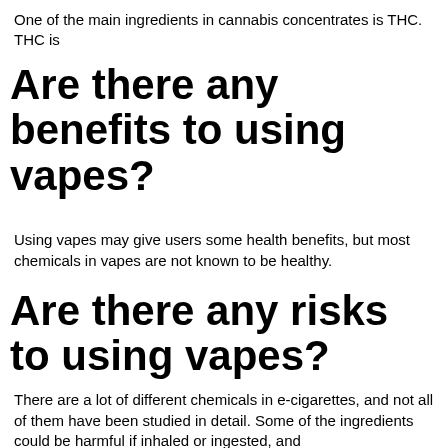One of the main ingredients in cannabis concentrates is THC. THC is
Are there any benefits to using vapes?
Using vapes may give users some health benefits, but most chemicals in vapes are not known to be healthy.
Are there any risks to using vapes?
There are a lot of different chemicals in e-cigarettes, and not all of them have been studied in detail. Some of the ingredients could be harmful if inhaled or ingested, and